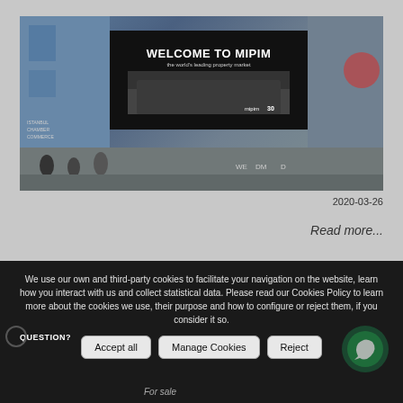[Figure (photo): Exterior of a large building with a massive LED billboard displaying 'WELCOME TO MIPIM the world's leading property market' with a crowd shown on the screen. People walk in the foreground. Event signage visible.]
2020-03-26
Read more...
We use our own and third-party cookies to facilitate your navigation on the website, learn how you interact with us and collect statistical data. Please read our Cookies Policy to learn more about the cookies we use, their purpose and how to configure or reject them, if you consider it so.
Accept all
Manage Cookies
Reject
QUESTION?
For sale